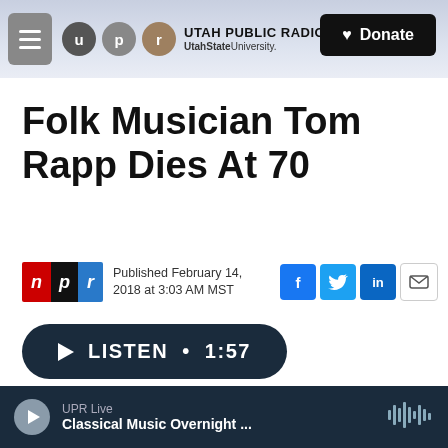[Figure (screenshot): Utah Public Radio website header with hamburger menu, UPR logo circles (u, p, r), UTAH PUBLIC RADIO / UtahStateUniversity. text, and Donate button]
Folk Musician Tom Rapp Dies At 70
Published February 14, 2018 at 3:03 AM MST
LISTEN • 1:57
RACHEL MARTIN, HOST:
UPR Live  Classical Music Overnight ...